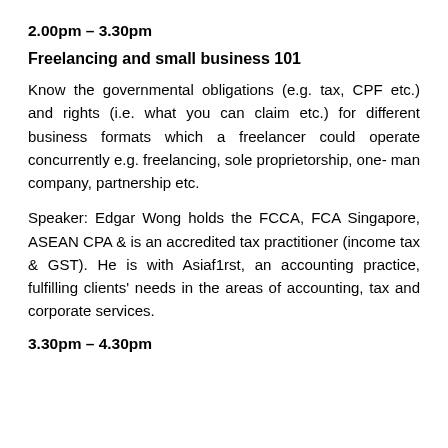2.00pm – 3.30pm
Freelancing and small business 101
Know the governmental obligations (e.g. tax, CPF etc.) and rights (i.e. what you can claim etc.) for different business formats which a freelancer could operate concurrently e.g. freelancing, sole proprietorship, one- man company, partnership etc.
Speaker: Edgar Wong holds the FCCA, FCA Singapore, ASEAN CPA & is an accredited tax practitioner (income tax & GST). He is with Asiaf1rst, an accounting practice, fulfilling clients' needs in the areas of accounting, tax and corporate services.
3.30pm – 4.30pm